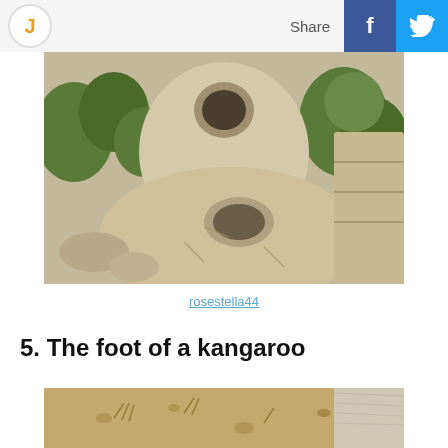J | Share | f | Twitter
[Figure (photo): Ancient stone ruins with circular holes carved in large limestone rocks, green vegetation in background]
rosestella44
5. The foot of a kangaroo
[Figure (photo): Close-up ground-level photo showing kangaroo foot and sandy/dirt ground with animal fur visible]